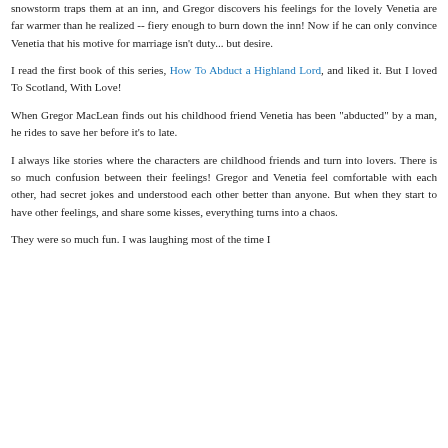snowstorm traps them at an inn, and Gregor discovers his feelings for the lovely Venetia are far warmer than he realized -- fiery enough to burn down the inn! Now if he can only convince Venetia that his motive for marriage isn't duty... but desire.
I read the first book of this series, How To Abduct a Highland Lord, and liked it. But I loved To Scotland, With Love!
When Gregor MacLean finds out his childhood friend Venetia has been "abducted" by a man, he rides to save her before it's to late.
I always like stories where the characters are childhood friends and turn into lovers. There is so much confusion between their feelings! Gregor and Venetia feel comfortable with each other, had secret jokes and understood each other better than anyone. But when they start to have other feelings, and share some kisses, everything turns into a chaos.
They were so much fun. I was laughing most of the time I